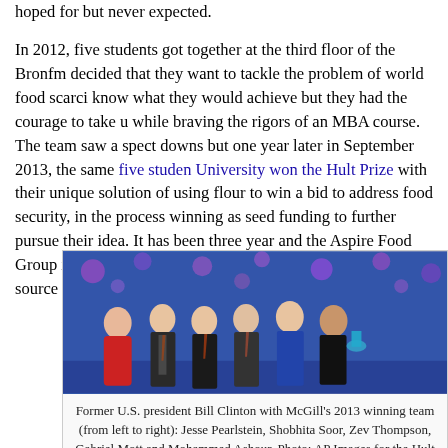hoped for but never expected.

In 2012, five students got together at the third floor of the Bronfman decided that they want to tackle the problem of world food scarci know what they would achieve but they had the courage to take u while braving the rigors of an MBA course. The team saw a spect downs but one year later in September 2013, the same five students University won the Hult Prize with their unique solution of using flour to win a bid to address food security, in the process winning as seed funding to further pursue their idea. It has been three year and the Aspire Food Group is still going strong with their mission sustainable food source to millions of people around the world.
[Figure (photo): Former U.S. president Bill Clinton with McGill's 2013 winning team on stage]
Former U.S. president Bill Clinton with McGill's 2013 winning team (from left to right): Jesse Pearlstein, Shobhita Soor, Zev Thompson, Gabriel Mott and Mohammed Ashour. Photo: AP Images for the Hult Prize